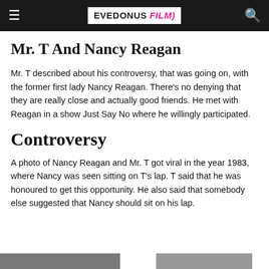EVEDONUS FILM
Mr. T And Nancy Reagan
Mr. T described about his controversy, that was going on, with the former first lady Nancy Reagan. There's no denying that they are really close and actually good friends. He met with Reagan in a show Just Say No where he willingly participated.
Controversy
A photo of Nancy Reagan and Mr. T got viral in the year 1983, where Nancy was seen sitting on T's lap. T said that he was honoured to get this opportunity. He also said that somebody else suggested that Nancy should sit on his lap.
[Figure (photo): Partial bottom strip showing two image thumbnails partially visible at the bottom of the page]